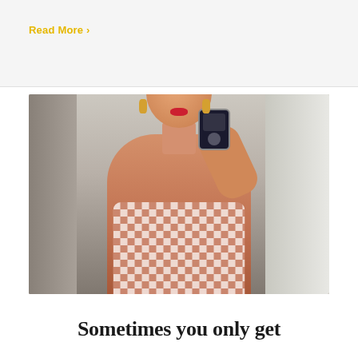Read More ›
[Figure (photo): A blonde woman in a pink and white checkered/gingham spaghetti-strap top taking a mirror selfie with her phone. She is smiling with red lips, wearing gold hoop earrings, with arms crossed. The background shows a bright room with windows and curtains.]
Sometimes you only get